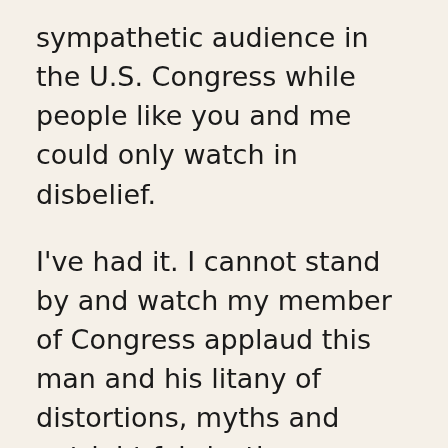sympathetic audience in the U.S. Congress while people like you and me could only watch in disbelief.

I've had it. I cannot stand by and watch my member of Congress applaud this man and his litany of distortions, myths and outright fabrications. Please, I urge you to join me in writing your US Representative to say, “How could you? Israeli Prime Minister Netanyahu has shown repeatedly that he is not interested in a viable future for either Palestinians or Israelis and you rewarded him with 29 standing ovations as the world watched.